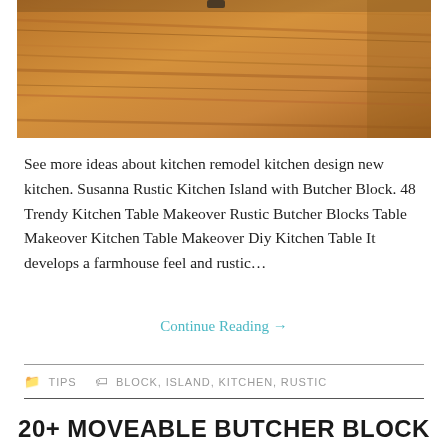[Figure (photo): Close-up photo of a wooden butcher block surface showing wood grain texture in warm brown tones]
See more ideas about kitchen remodel kitchen design new kitchen. Susanna Rustic Kitchen Island with Butcher Block. 48 Trendy Kitchen Table Makeover Rustic Butcher Blocks Table Makeover Kitchen Table Makeover Diy Kitchen Table It develops a farmhouse feel and rustic…
Continue Reading →
TIPS   BLOCK, ISLAND, KITCHEN, RUSTIC
20+ MOVEABLE BUTCHER BLOCK